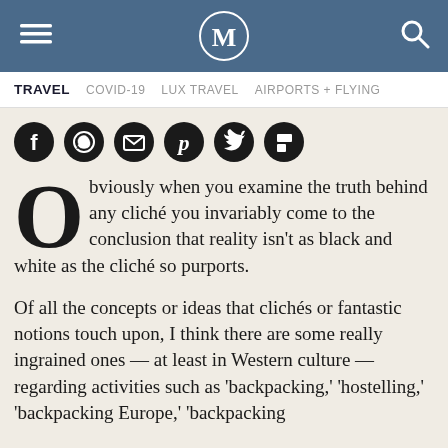M (logo) | hamburger menu | search icon navigation header
TRAVEL   COVID-19   LUX TRAVEL   AIRPORTS + FLYING
[Figure (infographic): Row of six social sharing icon buttons (Facebook, WhatsApp, Email, Pinterest, Twitter, Flipboard) as white icons on black circular backgrounds]
Obviously when you examine the truth behind any cliché you invariably come to the conclusion that reality isn't as black and white as the cliché so purports.
Of all the concepts or ideas that clichés or fantastic notions touch upon, I think there are some really ingrained ones — at least in Western culture — regarding activities such as 'backpacking,' 'hostelling,' 'backpacking Europe,' 'backpacking